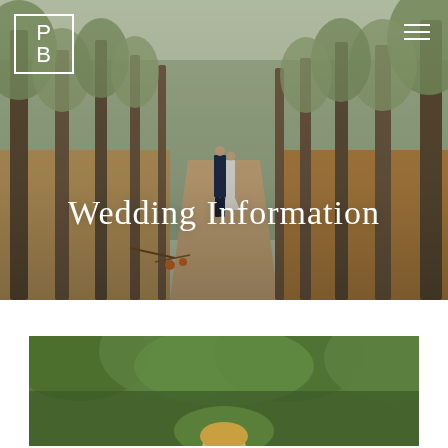[Figure (photo): Hero image of a wedding couple standing on a forest path flanked by tall eucalyptus trees, with a 'PB' logo in a white square box in the top-left corner and a hamburger menu icon in the top-right corner. Overlaid text reads 'Wedding Information' in white serif font.]
Wedding Information
[Figure (photo): Partially visible second photo showing green leafy trees and blurred foreground, the top of a person's head visible at the bottom center of the frame.]